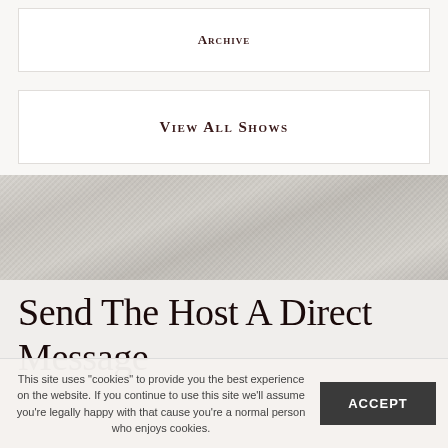Archive
View All Shows
[Figure (photo): Textured fabric/linen divider band between page sections]
Send The Host A Direct Message
This site uses "cookies" to provide you the best experience on the website. If you continue to use this site we'll assume you're legally happy with that cause you're a normal person who enjoys cookies.
ACCEPT